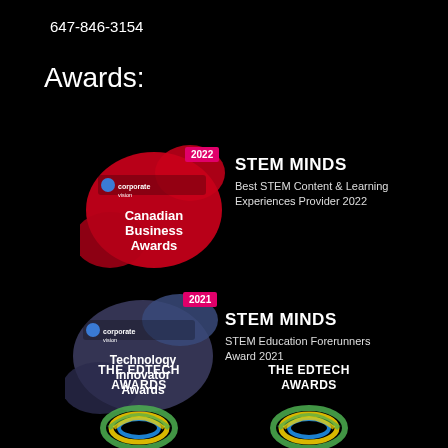647-846-3154
Awards:
[Figure (logo): Corporate Vision 2022 Canadian Business Awards badge - red blob shape with logo and text 'Canadian Business Awards', year badge '2022' in pink]
STEM MINDS
Best STEM Content & Learning Experiences Provider 2022
[Figure (logo): Corporate Vision 2021 Technology Innovator Awards badge - purple/blue blob shape with logo and text 'Technology Innovator Awards', year badge '2021' in pink]
STEM MINDS
STEM Education Forerunners Award 2021
[Figure (logo): The EdTech Awards logo - circular ribbon/laurel design in green, yellow, blue colors with text 'THE EDTECH AWARDS']
[Figure (logo): The EdTech Awards logo - circular ribbon/laurel design in green, yellow, blue colors with text 'THE EDTECH AWARDS']